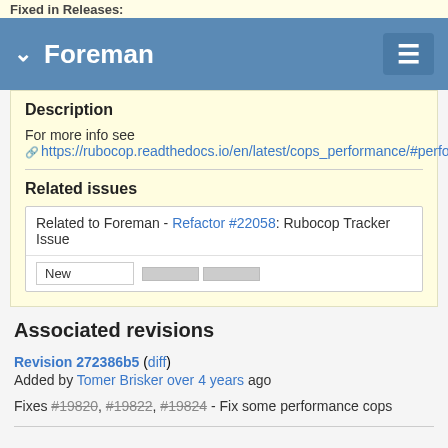Fixed in Releases:
Foreman
Description
For more info see https://rubocop.readthedocs.io/en/latest/cops_performance/#performancecasecmp
Related issues
| Related to Foreman - Refactor #22058: Rubocop Tracker Issue |
| New |  |  |
Associated revisions
Revision 272386b5 (diff)
Added by Tomer Brisker over 4 years ago
Fixes #19820, #19822, #19824 - Fix some performance cops